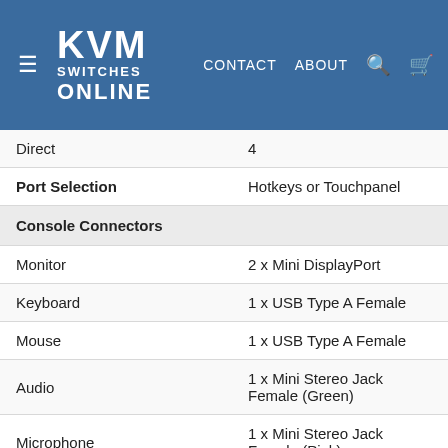KVM SWITCHES ONLINE — CONTACT   ABOUT
| Spec | Value |
| --- | --- |
| Direct | 4 |
| Port Selection | Hotkeys or Touchpanel |
| Console Connectors |  |
| Monitor | 2 x Mini DisplayPort |
| Keyboard | 1 x USB Type A Female |
| Mouse | 1 x USB Type A Female |
| Audio | 1 x Mini Stereo Jack Female (Green) |
| Microphone | 1 x Mini Stereo Jack Female (Pink) |
| CPU Connectors |  |
| Monitor | 8 x Mini DisplayPort |